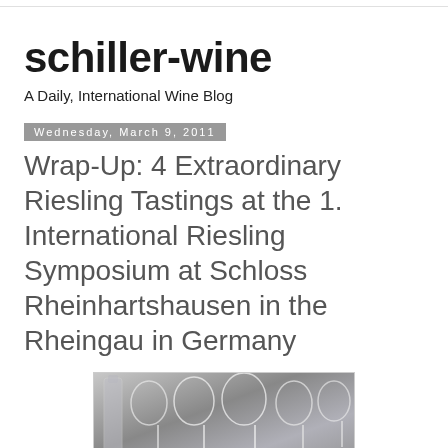schiller-wine
A Daily, International Wine Blog
Wednesday, March 9, 2011
Wrap-Up: 4 Extraordinary Riesling Tastings at the 1. International Riesling Symposium at Schloss Rheinhartshausen in the Rheingau in Germany
[Figure (photo): Photo showing wine glasses arranged on a table, partially visible at the bottom of the page]